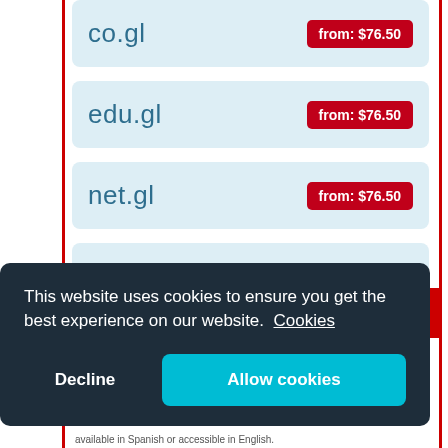co.gl — from: $76.50
edu.gl — from: $76.50
net.gl — from: $76.50
org.gl — from: $76.50
This website uses cookies to ensure you get the best experience on our website. Cookies
Decline
Allow cookies